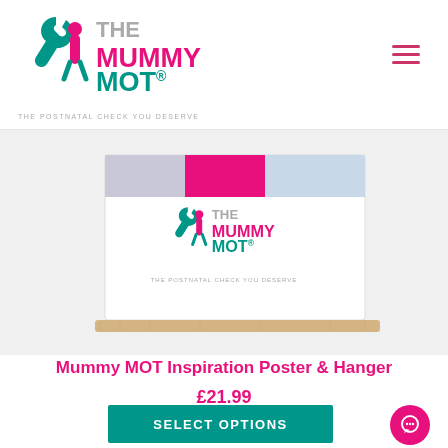[Figure (logo): The Mummy MOT logo with wrench icon, pink and teal colors, tagline: THE POSTNATAL CHECK YOU DESERVE]
[Figure (photo): Product photo of the Mummy MOT Inspiration Poster & Hanger, showing a landscape poster with The Mummy MOT branding on a wooden hanger, with collage images across the top.]
Mummy MOT Inspiration Poster & Hanger
£21.99
SELECT OPTIONS